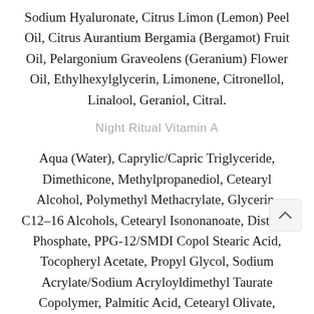Sodium Hyaluronate, Citrus Limon (Lemon) Peel Oil, Citrus Aurantium Bergamia (Bergamot) Fruit Oil, Pelargonium Graveolens (Geranium) Flower Oil, Ethylhexylglycerin, Limonene, Citronellol, Linalool, Geraniol, Citral.
Night Ritual Vitamin A
Aqua (Water), Caprylic/Capric Triglyceride, Dimethicone, Methylpropanediol, Cetearyl Alcohol, Polymethyl Methacrylate, Glycerin, C12-16 Alcohols, Cetearyl Isononanoate, Distarch Phosphate, PPG-12/SMDI Copolymer, Stearic Acid, Tocopheryl Acetate, Propyl Glycol, Sodium Acrylate/Sodium Acryloyldimethyl Taurate Copolymer, Palmitic Acid, Cetearyl Olivate, Caprylyl Glycol,